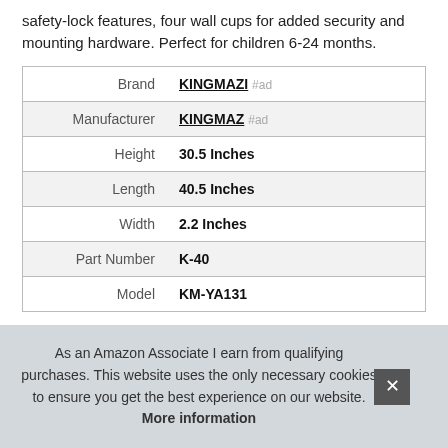safety-lock features, four wall cups for added security and mounting hardware. Perfect for children 6-24 months.
|  |  |
| --- | --- |
| Brand | KINGMAZI #ad |
| Manufacturer | KINGMAZ #ad |
| Height | 30.5 Inches |
| Length | 40.5 Inches |
| Width | 2.2 Inches |
| Part Number | K-40 |
| Model | KM-YA131 |
As an Amazon Associate I earn from qualifying purchases. This website uses the only necessary cookies to ensure you get the best experience on our website. More information